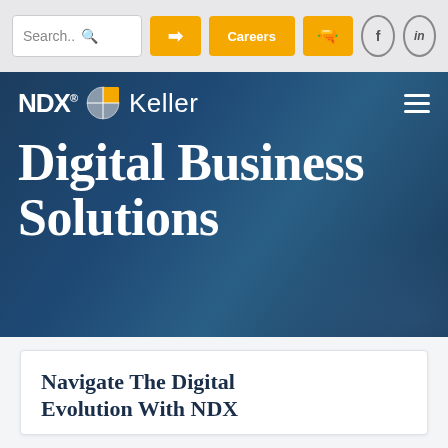[Figure (screenshot): Navigation bar with search box, login button, Careers button, lab icon button, Facebook and LinkedIn circle buttons on a light gray background]
[Figure (logo): NDX Keller logo with circular divided icon in gray and yellow, white text on dark blue background, hamburger menu icon on right]
Digital Business Solutions
Navigate The Digital Evolution With NDX